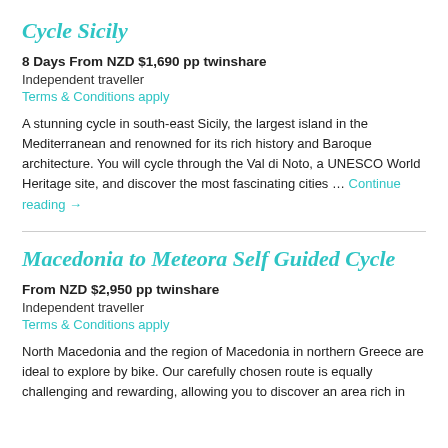Cycle Sicily
8 Days From NZD $1,690 pp twinshare
Independent traveller
Terms & Conditions apply
A stunning cycle in south-east Sicily, the largest island in the Mediterranean and renowned for its rich history and Baroque architecture. You will cycle through the Val di Noto, a UNESCO World Heritage site, and discover the most fascinating cities … Continue reading →
Macedonia to Meteora Self Guided Cycle
From NZD $2,950 pp twinshare
Independent traveller
Terms & Conditions apply
North Macedonia and the region of Macedonia in northern Greece are ideal to explore by bike. Our carefully chosen route is equally challenging and rewarding, allowing you to discover an area rich in